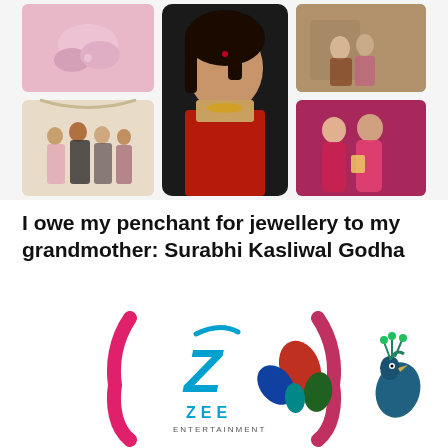[Figure (photo): Collage of 5 photos: top-left shows pink/hands photo, center is a portrait of Surabhi Kasliwal Godha in a red saree with gold jewellery, left shows a group of people in an interior, top-right shows two people in a room, bottom-right shows two ladies in pink/red dresses at an event]
I owe my penchant for jewellery to my grandmother: Surabhi Kasliwal Godha
A passionate jewellery designer and founder of Surabhi Fine Crafted Jewels, Surabhi Kasliwal Godha is a woman extraordinaire. Even though she belonged to a family
[Figure (logo): ZEE Entertainment logo with peacock motif and stylized pink bracket shapes on the sides]